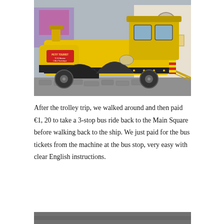[Figure (photo): A yellow and black tourist trolley or road train styled to look like a locomotive, parked on a cobblestone street. A L'Occitane en Provence shop is visible in the background.]
After the trolley trip, we walked around and then paid €1, 20 to take a 3-stop bus ride back to the Main Square before walking back to the ship. We just paid for the bus tickets from the machine at the bus stop, very easy with clear English instructions.
[Figure (photo): Partial view of another photo at the bottom of the page, appears dark/grey.]